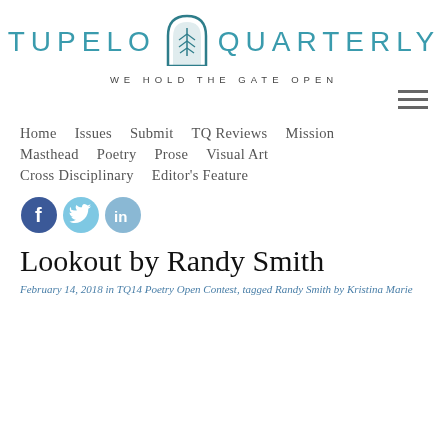TUPELO QUARTERLY — WE HOLD THE GATE OPEN
[Figure (logo): Tupelo Quarterly logo with leaf/gate icon in teal, text reads TUPELO QUARTERLY, tagline WE HOLD THE GATE OPEN]
Home
Issues
Submit
TQ Reviews
Mission
Masthead
Poetry
Prose
Visual Art
Cross Disciplinary
Editor's Feature
[Figure (illustration): Social media icons: Facebook (blue circle with f), Twitter (light blue circle with bird), LinkedIn (light blue circle with in)]
Lookout by Randy Smith
February 14, 2018 in TQ14 Poetry Open Contest, tagged Randy Smith by Kristina Marie